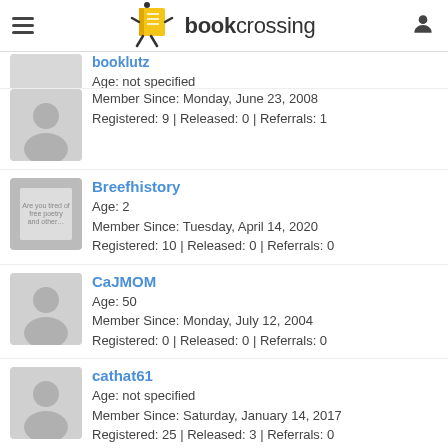bookcrossing
booklutz
Age: not specified
Member Since: Monday, June 23, 2008
Registered: 9 | Released: 0 | Referrals: 1
Breefhistory
Age: 2
Member Since: Tuesday, April 14, 2020
Registered: 10 | Released: 0 | Referrals: 0
CaJMOM
Age: 50
Member Since: Monday, July 12, 2004
Registered: 0 | Released: 0 | Referrals: 0
cathat61
Age: not specified
Member Since: Saturday, January 14, 2017
Registered: 25 | Released: 3 | Referrals: 0
Ciorsdan
Age: 47
Member Since: Tuesday, January 6, 2004
Registered: 0 | Released: 0 | Referrals: 0
coralyn
Age: 59
Member Since: Tuesday, September 27, 2005
Registered: 0 | Released: 0 | Referrals: 0
dsheff